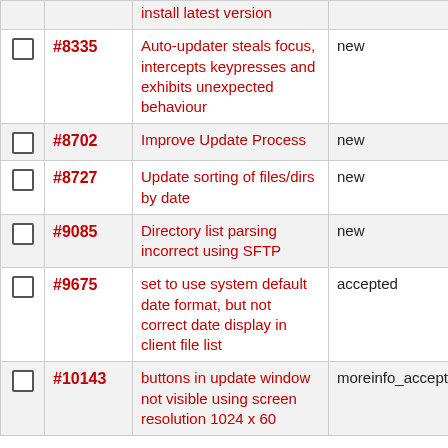|  | ID | Description | Status | ... |
| --- | --- | --- | --- | --- |
|  |  | install latest version |  | up... |
| ☐ | #8335 | Auto-updater steals focus, intercepts keypresses and exhibits unexpected behaviour | new | up... |
| ☐ | #8702 | Improve Update Process | new | up... |
| ☐ | #8727 | Update sorting of files/dirs by date | new | ex... old... |
| ☐ | #9085 | Directory list parsing incorrect using SFTP | new | dir... |
| ☐ | #9675 | set to use system default date format, but not correct date display in client file list | accepted | da... |
| ☐ | #10143 | buttons in update window not visible using screen resolution 1024 x 60... | moreinfo_accepted | sc... up... |